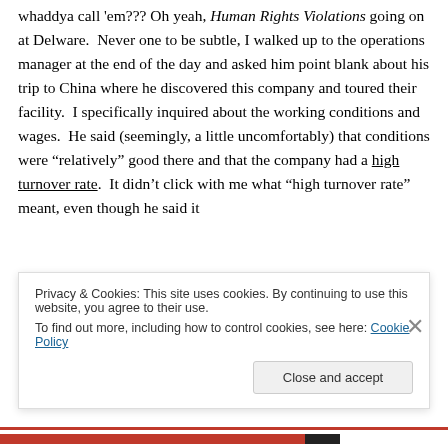whaddya call 'em??? Oh yeah, Human Rights Violations going on at Delware.  Never one to be subtle, I walked up to the operations manager at the end of the day and asked him point blank about his trip to China where he discovered this company and toured their facility.  I specifically inquired about the working conditions and wages.  He said (seemingly, a little uncomfortably) that conditions were “relatively” good there and that the company had a high turnover rate.  It didn’t click with me what “high turnover rate” meant, even though he said it
Privacy & Cookies: This site uses cookies. By continuing to use this website, you agree to their use.
To find out more, including how to control cookies, see here: Cookie Policy